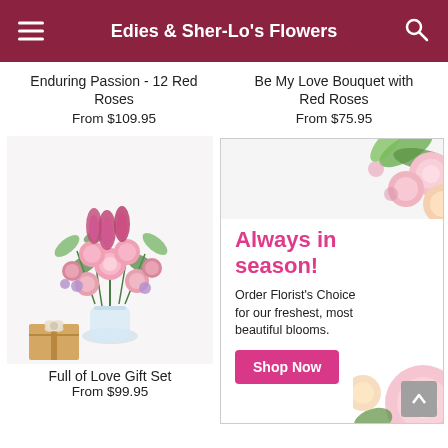Edies & Sher-Lo's Flowers
Enduring Passion - 12 Red Roses
From $109.95
Be My Love Bouquet with Red Roses
From $75.95
[Figure (photo): Flower bouquet with pink roses, pink tulips, and carnations in a glass vase, with a small gift box]
[Figure (infographic): Promotional ad: Always in season! Order Florist's Choice for our freshest, most beautiful blooms. Shop Now button. Decorated with pink and green flowers.]
Full of Love Gift Set
From $99.95